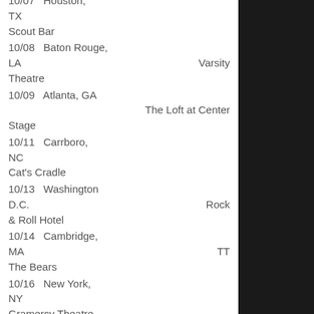10/07  Houston, TX
Scout Bar
10/08  Baton Rouge, LA  Varsity Theatre
10/09  Atlanta, GA
  The Loft at Center Stage
10/11  Carrboro, NC
Cat's Cradle
10/13  Washington D.C.  Rock & Roll Hotel
10/14  Cambridge, MA  TT The Bears
10/16  New York, NY
Gramercy Theatre
10/17  Philadelphia, PA  District N9ne